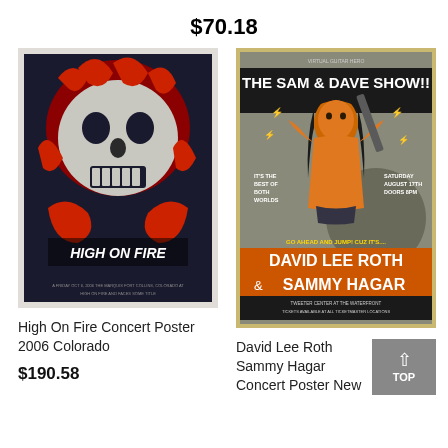$70.18
[Figure (photo): High On Fire concert poster from 2006 Colorado, featuring a skull/demon face in red and black woodcut style with text HIGH ON FIRE]
High On Fire Concert Poster 2006 Colorado
$190.58
[Figure (photo): The Sam & Dave Show concert poster featuring David Lee Roth and Sammy Hagar, with illustrated woman holding a guitar, orange and grey colors, Saturday August 17th Doors 8PM, Tweeter Center at the Waterfront]
David Lee Roth Sammy Hagar Concert Poster New